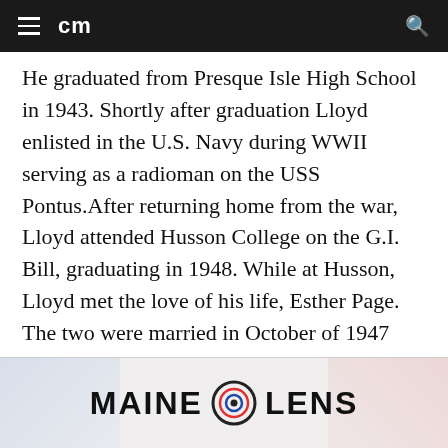cm
He graduated from Presque Isle High School in 1943. Shortly after graduation Lloyd enlisted in the U.S. Navy during WWII serving as a radioman on the USS Pontus.After returning home from the war, Lloyd attended Husson College on the G.I. Bill, graduating in 1948. While at Husson, Lloyd met the love of his life, Esther Page. The two were married in October of 1947 and spent 65 wonderful years together until Esther’s passing in 2012.Lloyd and Esther raised their three children, Linda Riccio of Los
[Figure (logo): MAINE LENS advertisement banner with circular lens/eye graphic between the two words]